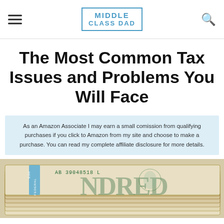Middle Class Dad
The Most Common Tax Issues and Problems You Will Face
As an Amazon Associate I may earn a small comission from qualifying purchases if you click to Amazon from my site and choose to make a purchase. You can read my complete affiliate disclosure for more details.
[Figure (photo): Stack of US $100 bills with blue Federal Reserve band wrapped around them, viewed from above at a slight angle on a light beige/tan background.]